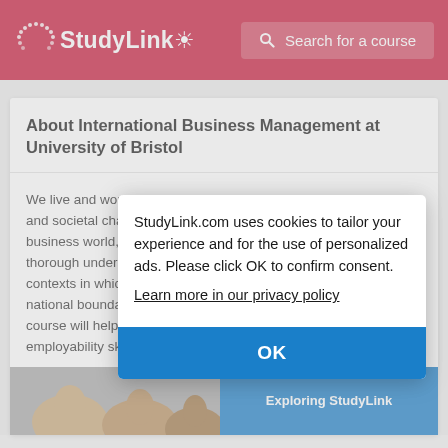StudyLink
About International Business Management at University of Bristol
We live and work in a world characterised by rapid technological and societal change on a global scale. To be effective in today's business world, you need a multinational perspective and a thorough understanding of the cultural, economic and political contexts in which organisations operate, both within and across national boundaries. Our International Business Management course will help you develop the intellectual, analytical and employability skills you need.
StudyLink.com uses cookies to tailor your experience and for the use of personalized ads. Please click OK to confirm consent.
Learn more in our privacy policy
OK